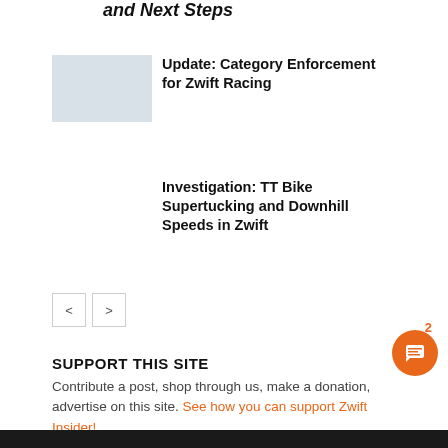and Next Steps
Update: Category Enforcement for Zwift Racing
[Figure (photo): Thumbnail image showing Zwift racing scene, light blue/gray tones]
Investigation: TT Bike Supertucking and Downhill Speeds in Zwift
< >
SUPPORT THIS SITE
Contribute a post, shop through us, make a donation, advertise on this site. See how you can support Zwift Insider!